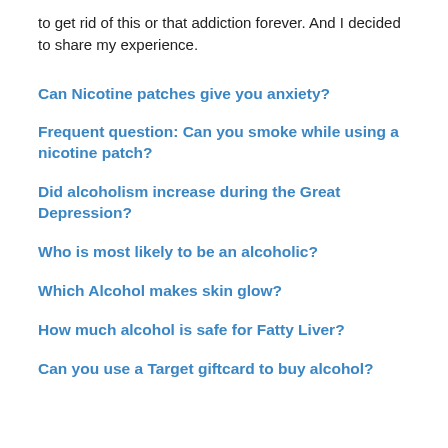to get rid of this or that addiction forever. And I decided to share my experience.
Can Nicotine patches give you anxiety?
Frequent question: Can you smoke while using a nicotine patch?
Did alcoholism increase during the Great Depression?
Who is most likely to be an alcoholic?
Which Alcohol makes skin glow?
How much alcohol is safe for Fatty Liver?
Can you use a Target giftcard to buy alcohol?